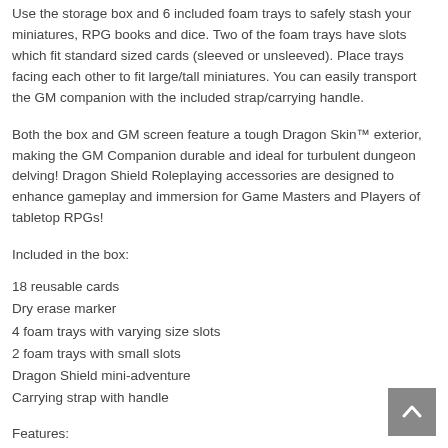Use the storage box and 6 included foam trays to safely stash your miniatures, RPG books and dice. Two of the foam trays have slots which fit standard sized cards (sleeved or unsleeved). Place trays facing each other to fit large/tall miniatures. You can easily transport the GM companion with the included strap/carrying handle.
Both the box and GM screen feature a tough Dragon Skin™ exterior, making the GM Companion durable and ideal for turbulent dungeon delving! Dragon Shield Roleplaying accessories are designed to enhance gameplay and immersion for Game Masters and Players of tabletop RPGs!
Included in the box:
18 reusable cards
Dry erase marker
4 foam trays with varying size slots
2 foam trays with small slots
Dragon Shield mini-adventure
Carrying strap with handle
Features:
Highly customizable and unique? all-in-one product